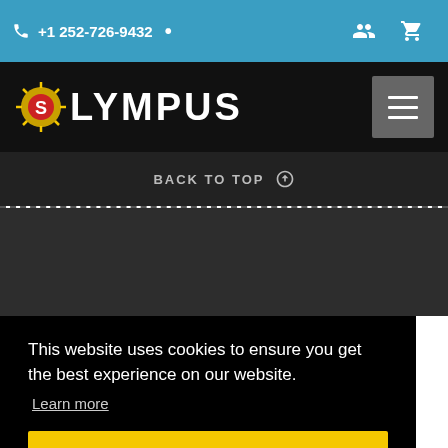+1 252-726-9432
[Figure (logo): Olympus logo with sun/compass icon and white bold text on black navigation bar]
BACK TO TOP
This website uses cookies to ensure you get the best experience on our website. Learn more
Got it!